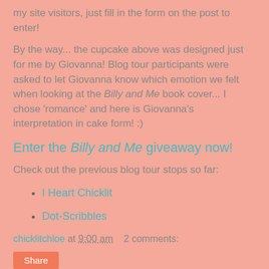my site visitors, just fill in the form on the post to enter!
By the way... the cupcake above was designed just for me by Giovanna! Blog tour participants were asked to let Giovanna know which emotion we felt when looking at the Billy and Me book cover... I chose 'romance' and here is Giovanna's interpretation in cake form! :)
Enter the Billy and Me giveaway now!
Check out the previous blog tour stops so far:
I Heart Chicklit
Dot-Scribbles
chicklitchloe at 9:00 am   2 comments:
Share
14 May 2013